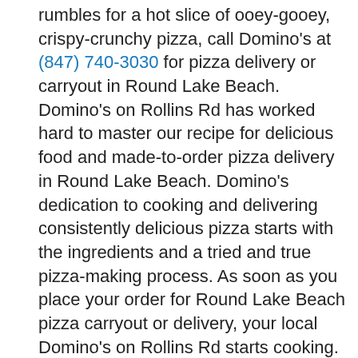rumbles for a hot slice of ooey-gooey, crispy-crunchy pizza, call Domino's at (847) 740-3030 for pizza delivery or carryout in Round Lake Beach. Domino's on Rollins Rd has worked hard to master our recipe for delicious food and made-to-order pizza delivery in Round Lake Beach. Domino's dedication to cooking and delivering consistently delicious pizza starts with the ingredients and a tried and true pizza-making process. As soon as you place your order for Round Lake Beach pizza carryout or delivery, your local Domino's on Rollins Rd starts cooking. Your crunchy thin crust, hand-tossed, fluffy Brooklyn-style, or gluten-free pizza crust is prepped and doused in whatever sauce you choose. You can play it simple with an authentic marinara or spice things up with Alfredo sauce, garlic parmesan white sauce, or BBQ sauce!
Then comes your toppings, the tidbits that define your pizza's taste. Domino's long-time favorite pizza recipes provide perfectly balanced flavor profiles for whatever tastes you desire. Kookoo for Buffalo Chicken? You got it. Spend your days dreaming of palm trees on the beach? Order the Honolulu Hawaiian Pizza with pineapple, smoked and crispy bacon, sliced ham, and more! Going meat-free? Domino's has vegetarian pizzas just for you.